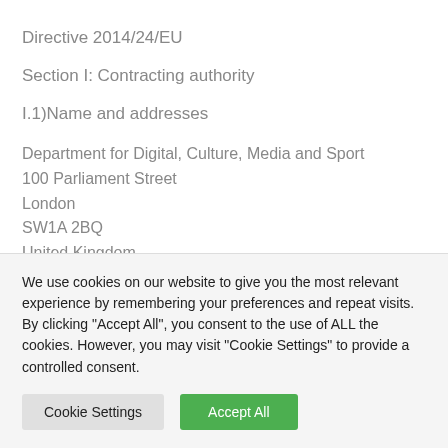Directive 2014/24/EU
Section I: Contracting authority
I.1)Name and addresses
Department for Digital, Culture, Media and Sport
100 Parliament Street
London
SW1A 2BQ
United Kingdom
We use cookies on our website to give you the most relevant experience by remembering your preferences and repeat visits. By clicking "Accept All", you consent to the use of ALL the cookies. However, you may visit "Cookie Settings" to provide a controlled consent.